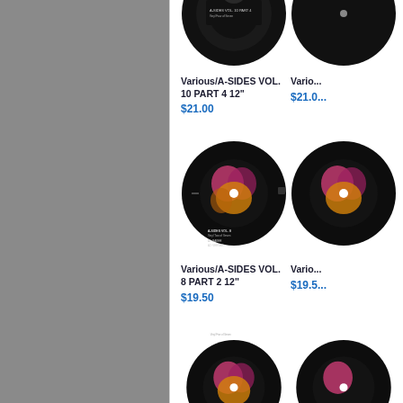[Figure (photo): Grey sidebar panel on left side of page]
[Figure (photo): Vinyl record product image: Various/A-SIDES VOL. 10 PART 4 12"]
Various/A-SIDES VOL. 10 PART 4 12"
$21.00
[Figure (photo): Vinyl record product image (partially visible): second column item priced $21.00]
Vario...
$21.0...
[Figure (photo): Vinyl record product image: Various/A-SIDES VOL. 8 PART 2 12"]
Various/A-SIDES VOL. 8 PART 2 12"
$19.50
[Figure (photo): Vinyl record product image (partially visible): second column item priced $19.5...]
$19.5...
[Figure (photo): Vinyl record product image: lower row left column, A-SIDES VOL. series]
[Figure (photo): Vinyl record product image (partially visible): lower row right column]